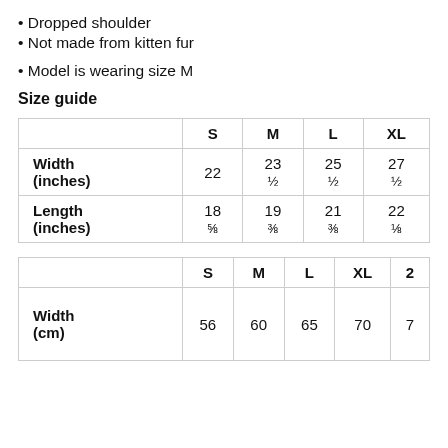Dropped shoulder
Not made from kitten fur
Model is wearing size M
Size guide
|  | S | M | L | XL |
| --- | --- | --- | --- | --- |
| Width (inches) | 22 | 23 ½ | 25 ½ | 27 ½ |
| Length (inches) | 18 ⅝ | 19 ⅜ | 21 ⅜ | 22 ⅛ |
|  | S | M | L | XL | 2… |
| --- | --- | --- | --- | --- | --- |
| Width (cm) | 56 | 60 | 65 | 70 | 7… |